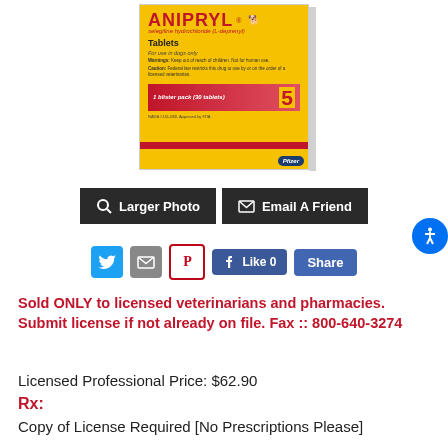[Figure (photo): Anipryl (selegiline hydrochloride) Tablets product box — yellow packaging with red brand name, 1 blister pack (30 tablets), 5mg, Pfizer logo]
[Figure (screenshot): Two dark buttons: 'Larger Photo' with magnifying glass icon and 'Email A Friend' with envelope icon]
[Figure (screenshot): Social sharing row with Twitter, email, Pinterest icons and Facebook Like (0) and Share buttons]
Sold ONLY to licensed veterinarians and pharmacies. Submit license if not already on file. Fax :: 800-640-3274
Licensed Professional Price: $62.90
Rx:
Copy of License Required [No Prescriptions Please]